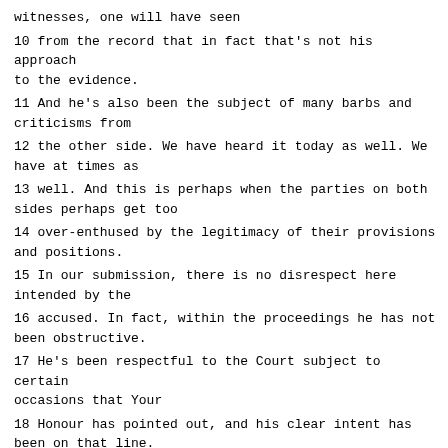witnesses, one will have seen
10 from the record that in fact that's not his approach to the evidence.
11 And he's also been the subject of many barbs and criticisms from
12 the other side. We have heard it today as well. We have at times as
13 well. And this is perhaps when the parties on both sides perhaps get too
14 over-enthused by the legitimacy of their provisions and positions.
15 In our submission, there is no disrespect here intended by the
16 accused. In fact, within the proceedings he has not been obstructive.
17 He's been respectful to the Court subject to certain occasions that Your
18 Honour has pointed out, and his clear intent has been on that line.
19 To start saying whatever faults there may be, that that's a ground